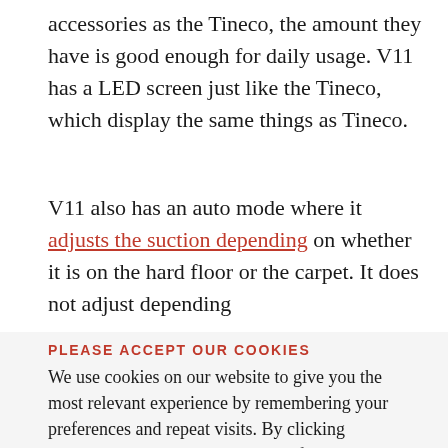accessories as the Tineco, the amount they have is good enough for daily usage. V11 has a LED screen just like the Tineco, which display the same things as Tineco.
V11 also has an auto mode where it adjusts the suction depending on whether it is on the hard floor or the carpet. It does not adjust depending
PLEASE ACCEPT OUR COOKIES
We use cookies on our website to give you the most relevant experience by remembering your preferences and repeat visits. By clicking “Accept”, you consent to the use of all the cookies.